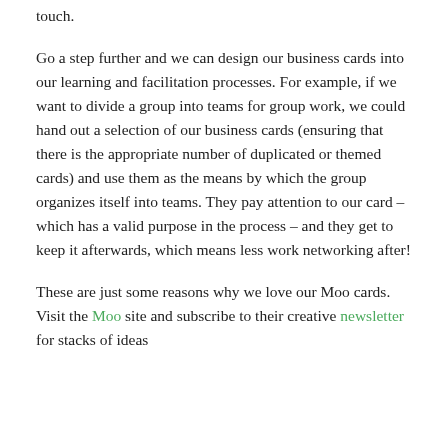touch.
Go a step further and we can design our business cards into our learning and facilitation processes. For example, if we want to divide a group into teams for group work, we could hand out a selection of our business cards (ensuring that there is the appropriate number of duplicated or themed cards) and use them as the means by which the group organizes itself into teams. They pay attention to our card – which has a valid purpose in the process – and they get to keep it afterwards, which means less work networking after!
These are just some reasons why we love our Moo cards. Visit the Moo site and subscribe to their creative newsletter for stacks of ideas